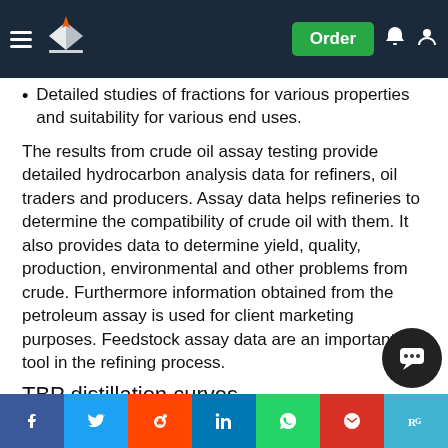Navigation bar with logo, hamburger menu, Order button, notification and account icons
Detailed studies of fractions for various properties and suitability for various end uses.
The results from crude oil assay testing provide detailed hydrocarbon analysis data for refiners, oil traders and producers. Assay data helps refineries to determine the compatibility of crude oil with them. It also provides data to determine yield, quality, production, environmental and other problems from crude. Furthermore information obtained from the petroleum assay is used for client marketing purposes. Feedstock assay data are an important tool in the refining process.
TBP distillation curves
The widely used evaluation method to investigate the of products that will be obtained from a refinery is true boiling poi... conducts